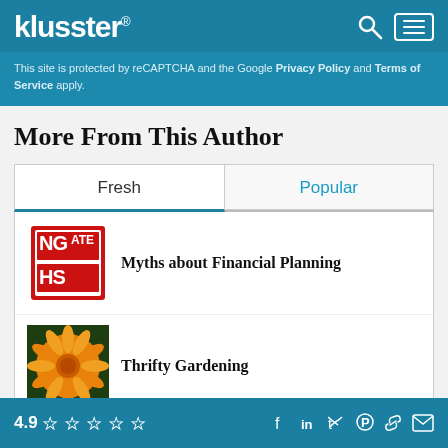klusster®
This site is protected by reCAPTCHA and the Google Privacy Policy and Terms of Service apply.
More From This Author
Fresh | Popular
[Figure (illustration): Thumbnail image with red stamp text 'NG ATE HS' (Myths branding)]
Myths about Financial Planning
[Figure (photo): Yellow/orange dahlia flower on dark green background]
Thrifty Gardening
4.9 ☆☆☆☆☆ [social icons: Facebook, LinkedIn, Twitter, Pinterest, Link, Email]